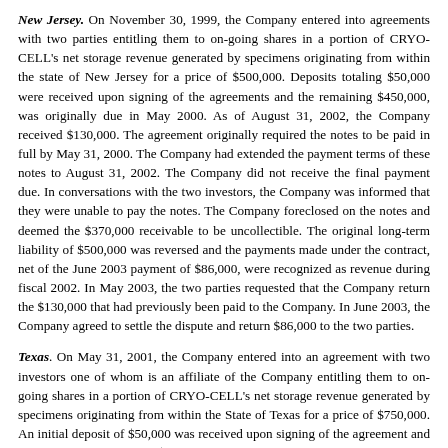New Jersey. On November 30, 1999, the Company entered into agreements with two parties entitling them to on-going shares in a portion of CRYO-CELL's net storage revenue generated by specimens originating from within the state of New Jersey for a price of $500,000. Deposits totaling $50,000 were received upon signing of the agreements and the remaining $450,000, was originally due in May 2000. As of August 31, 2002, the Company received $130,000. The agreement originally required the notes to be paid in full by May 31, 2000. The Company had extended the payment terms of these notes to August 31, 2002. The Company did not receive the final payment due. In conversations with the two investors, the Company was informed that they were unable to pay the notes. The Company foreclosed on the notes and deemed the $370,000 receivable to be uncollectible. The original long-term liability of $500,000 was reversed and the payments made under the contract, net of the June 2003 payment of $86,000, were recognized as revenue during fiscal 2002. In May 2003, the two parties requested that the Company return the $130,000 that had previously been paid to the Company. In June 2003, the Company agreed to settle the dispute and return $86,000 to the two parties.
Texas. On May 31, 2001, the Company entered into an agreement with two investors one of whom is an affiliate of the Company entitling them to on-going shares in a portion of CRYO-CELL's net storage revenue generated by specimens originating from within the State of Texas for a price of $750,000. An initial deposit of $50,000 was received upon signing of the agreement and the remaining balance of $700,000 was paid in August 2001. The investors are entitled to a 37.5% share of net storage revenues originating in the State of Texas to a maximum of 33,000 storage spaces. Mr. Charles Nyberg is a 50% owner of this revenue sharing agreement. Mr. Nyberg purchased this revenue sharing agreement prior to the time he became a member of the Board. Mr. Nyberg resigned from the